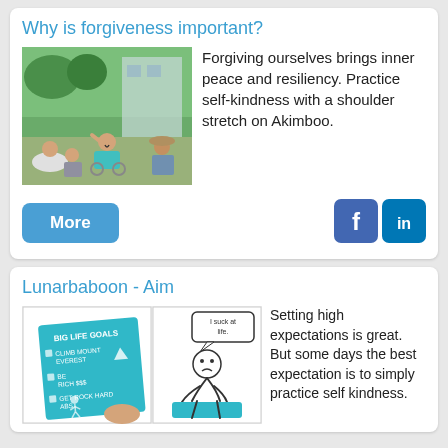Why is forgiveness important?
[Figure (photo): Group of people outdoors laughing and socializing, one person in a wheelchair]
Forgiving ourselves brings inner peace and resiliency. Practice self-kindness with a shoulder stretch on Akimboo.
More
[Figure (illustration): Facebook icon]
[Figure (illustration): LinkedIn icon]
Lunarbaboon - Aim
[Figure (illustration): Comic panels: left panel shows a blue notepad with Big Life Goals listed (Climb Mount Everest, Be Rich $$$, Get Rock Hard Abs); right panel shows a cartoon character looking dejected saying 'I suck at life']
Setting high expectations is great. But some days the best expectation is to simply practice self kindness.